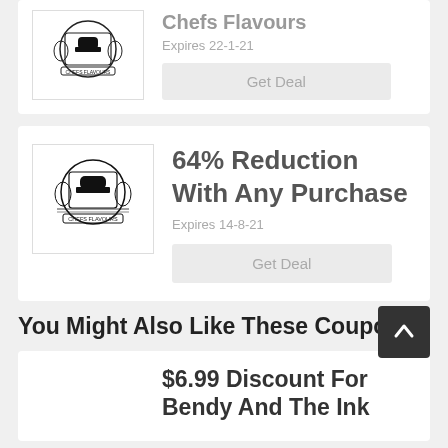[Figure (logo): Chefs Flavours heraldic crest logo]
Chefs Flavours
Expires 22-1-21
Get Deal
[Figure (logo): Chefs Flavours heraldic crest logo]
64% Reduction With Any Purchase
Expires 14-8-21
Get Deal
You Might Also Like These Coupons
$6.99 Discount For Bendy And The Ink